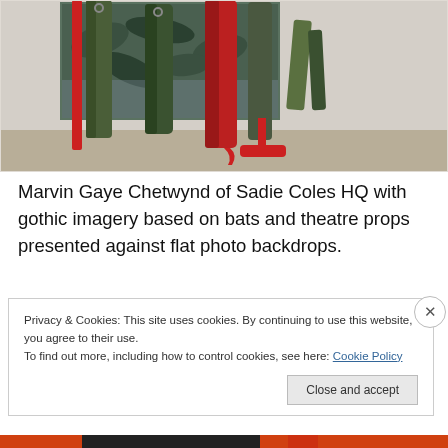[Figure (photo): Gallery installation photo showing coats and draped garments hung on red and green coat stands against a large painted backdrop with plant/leaf imagery, in a white gallery space with wooden floor.]
Marvin Gaye Chetwynd of Sadie Coles HQ with gothic imagery based on bats and theatre props presented against flat photo backdrops.
Privacy & Cookies: This site uses cookies. By continuing to use this website, you agree to their use.
To find out more, including how to control cookies, see here: Cookie Policy